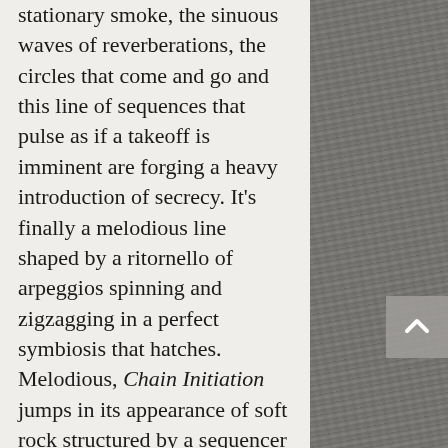stationary smoke, the sinuous waves of reverberations, the circles that come and go and this line of sequences that pulse as if a takeoff is imminent are forging a heavy introduction of secrecy. It's finally a melodious line shaped by a ritornello of arpeggios spinning and zigzagging in a perfect symbiosis that hatches. Melodious, Chain Initiation jumps in its appearance of soft rock structured by a sequencer which is tempted to exploit its line of rhythm as Chris Franke knew so well to do, while creating a kind of excitement that is equivalent to a coitus interruptus. One feels here that CARGO will meet our
[Figure (photo): Textured stone or concrete wall surface in dark grey tones, partially visible on the right side of the page]